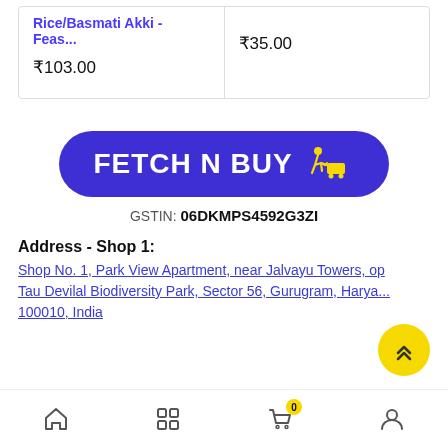Rice/Basmati Akki - Feas...
₹103.00
₹35.00
[Figure (logo): FETCH N BUY logo — white bold text on blue rounded pill background with yellow running-person-with-cart icon]
GSTIN: 06DKMPS4592G3ZI
Address - Shop 1:
Shop No. 1, Park View Apartment, near Jalvayu Towers, op Tau Devilal Biodiversity Park, Sector 56, Gurugram, Harya... 100010, India